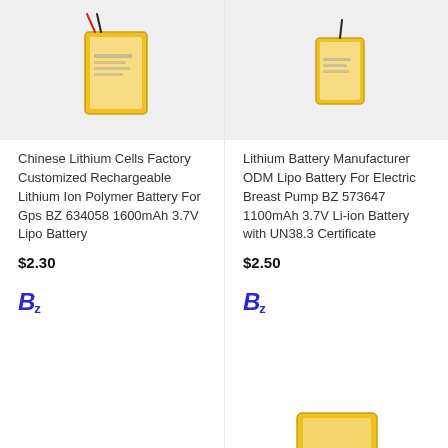[Figure (photo): Small rectangular lithium polymer battery with yellow casing and red/black wires, on light grey background]
[Figure (photo): Small rectangular lithium polymer battery with yellow casing and black wire, on light grey background]
Chinese Lithium Cells Factory Customized Rechargeable Lithium Ion Polymer Battery For Gps BZ 634058 1600mAh 3.7V Lipo Battery
$2.30
Lithium Battery Manufacturer ODM Lipo Battery For Electric Breast Pump BZ 573647 1100mAh 3.7V Li-ion Battery with UN38.3 Certificate
$2.50
[Figure (logo): Bz logo in blue italic bold text]
[Figure (logo): Bz logo in blue italic bold text]
[Figure (photo): Partially visible lithium polymer battery with yellow casing, bottom of page]
[Figure (photo): Partially visible lithium polymer battery with yellow casing, bottom right of page]